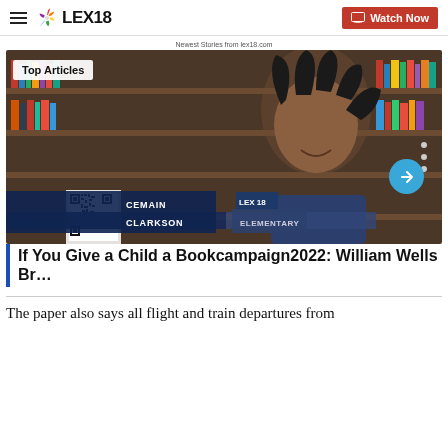LEX18 — Watch Now
Newest Stories from lex18.com
[Figure (screenshot): TV news screenshot showing a young girl named Cemain Clarkson in a library with bookshelves behind her. Overlay text reads 'Top Articles', 'CEMAIN CLARKSON', and 'ELEMENTARY'.]
If You Give a Child a Bookcampaign2022: William Wells Br…
The paper also says all flight and train departures from